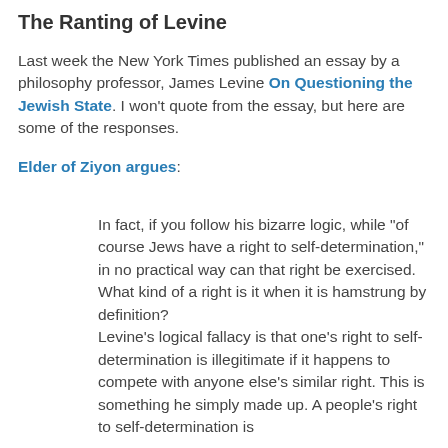The Ranting of Levine
Last week the New York Times published an essay by a philosophy professor, James Levine On Questioning the Jewish State. I won't quote from the essay, but here are some of the responses.
Elder of Ziyon argues:
In fact, if you follow his bizarre logic, while "of course Jews have a right to self-determination," in no practical way can that right be exercised. What kind of a right is it when it is hamstrung by definition? Levine's logical fallacy is that one's right to self-determination is illegitimate if it happens to compete with anyone else's similar right. This is something he simply made up. A people's right to self-determination is